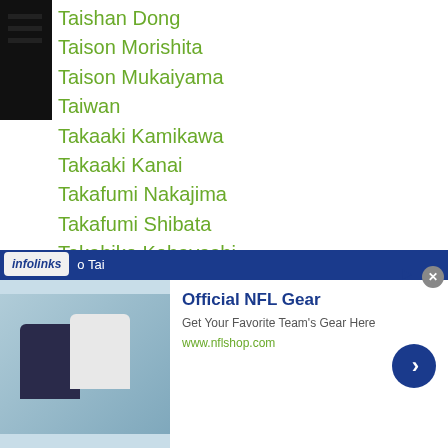Taishan Dong
Taison Morishita
Taison Mukaiyama
Taiwan
Takaaki Kamikawa
Takaaki Kanai
Takafumi Nakajima
Takafumi Shibata
Takahiko Kobayashi
Takahiro Ao
Takahiro Araki
Takahiro Fujii
Takahiro Murai
Takahiro Oda
Takahiro Shigee
Takahiro Tai
[Figure (screenshot): Infolinks advertisement banner for Official NFL Gear showing NFL jerseys, with text 'Official NFL Gear', 'Get Your Favorite Team's Gear Here', 'www.nflshop.com']